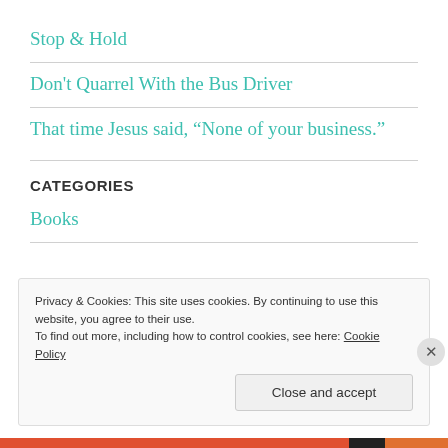Stop & Hold
Don't Quarrel With the Bus Driver
That time Jesus said, “None of your business.”
CATEGORIES
Books
Privacy & Cookies: This site uses cookies. By continuing to use this website, you agree to their use.
To find out more, including how to control cookies, see here: Cookie Policy
Close and accept